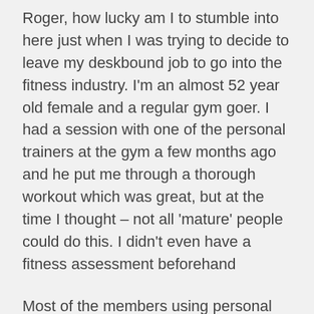Roger, how lucky am I to stumble into here just when I was trying to decide to leave my deskbound job to go into the fitness industry. I'm an almost 52 year old female and a regular gym goer. I had a session with one of the personal trainers at the gym a few months ago and he put me through a thorough workout which was great, but at the time I thought – not all 'mature' people could do this. I didn't even have a fitness assessment beforehand
Most of the members using personal trainers are a lot younger than me. I think there's a niche for older personal trainers for older people. My point I suppose is, am I too old to start now? I'm hungry and foolish enough.
Reply